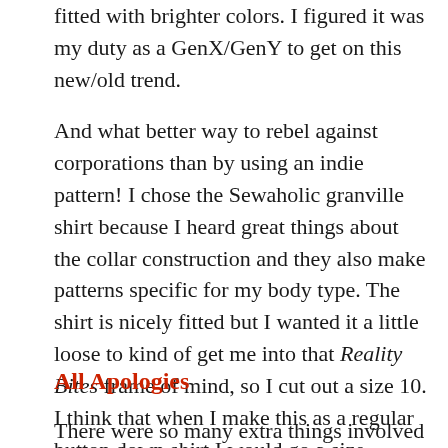fitted with brighter colors. I figured it was my duty as a GenX/GenY to get on this new/old trend.
And what better way to rebel against corporations than by using an indie pattern! I chose the Sewaholic granville shirt because I heard great things about the collar construction and they also make patterns specific for my body type. The shirt is nicely fitted but I wanted it a little loose to kind of get me into that Reality Bites frame of mind, so I cut out a size 10. I think that when I make this as a regular button down shirt I would go a size smaller as this one has plenty of room.
All Apologies
There were so many extra things involved with making